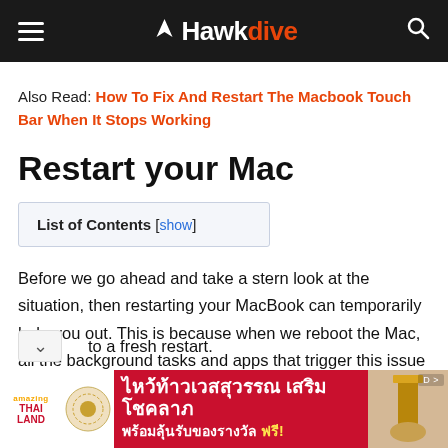Hawkdive
Also Read: How To Fix And Restart The Macbook Touch Bar When It Stops Working
Restart your Mac
List of Contents [show]
Before we go ahead and take a stern look at the situation, then restarting your MacBook can temporarily help you out. This is because when we reboot the Mac, all the background tasks and apps that trigger this issue will be closed leading to a fresh restart.
[Figure (other): Advertisement banner for Amazing Thailand / ไหว้ท้าวเวสสุวรรณ เสริมโชคลาภ พร้อมลุ้นรับของรางวัล ฟรี!]